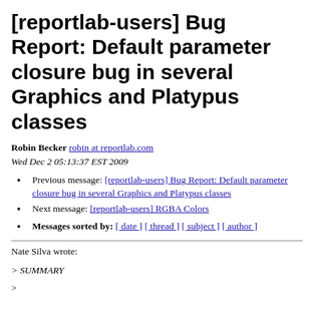[reportlab-users] Bug Report: Default parameter closure bug in several Graphics and Platypus classes
Robin Becker robin at reportlab.com
Wed Dec 2 05:13:37 EST 2009
Previous message: [reportlab-users] Bug Report: Default parameter closure bug in several Graphics and Platypus classes
Next message: [reportlab-users] RGBA Colors
Messages sorted by: [ date ] [ thread ] [ subject ] [ author ]
Nate Silva wrote:
> SUMMARY
>